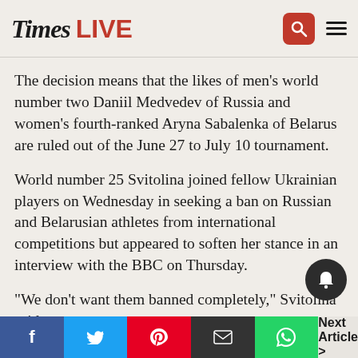Times LIVE
The decision means that the likes of men's world number two Daniil Medvedev of Russia and women's fourth-ranked Aryna Sabalenka of Belarus are ruled out of the June 27 to July 10 tournament.
World number 25 Svitolina joined fellow Ukrainian players on Wednesday in seeking a ban on Russian and Belarusian athletes from international competitions but appeared to soften her stance in an interview with the BBC on Thursday.
"We don't want them banned completely," Svitolina said.
"If players don't speak out against the Russian government then it is the right thing to ban them.
f  t  p  [email]  [whatsapp]  Next Article >